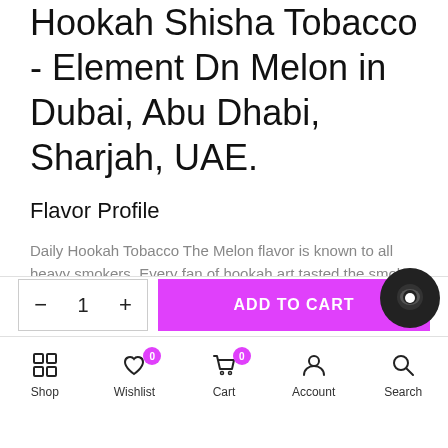Hookah Shisha Tobacco - Element Dn Melon in Dubai, Abu Dhabi, Sharjah, UAE.
Flavor Profile
Daily Hookah Tobacco The Melon flavor is known to all heavy smokers. Every fan of hookah art tasted the smoke with the aroma of juicy ripe melon and appreciated the mix.
Specifications
ADD TO CART
Shop  Wishlist  Cart  Account  Search